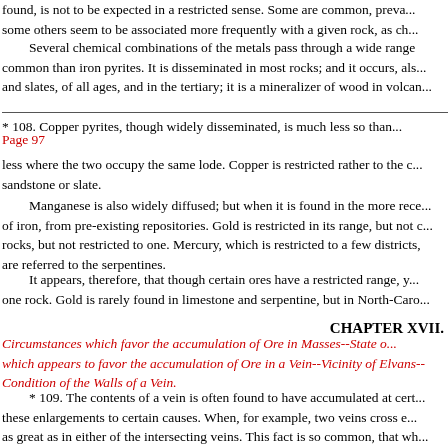found, is not to be expected in a restricted sense. Some are common, prevalent; some others seem to be associated more frequently with a given rock, as ch...
Several chemical combinations of the metals pass through a wide range... common than iron pyrites. It is disseminated in most rocks; and it occurs, also... and slates, of all ages, and in the tertiary; it is a mineralizer of wood in volcan...
* 108. Copper pyrites, though widely disseminated, is much less so than...
Page 97
less where the two occupy the same lode. Copper is restricted rather to the c... sandstone or slate.
Manganese is also widely diffused; but when it is found in the more rece... of iron, from pre-existing repositories. Gold is restricted in its range, but not c... rocks, but not restricted to one. Mercury, which is restricted to a few districts,... are referred to the serpentines.
It appears, therefore, that though certain ores have a restricted range, y... one rock. Gold is rarely found in limestone and serpentine, but in North-Caro...
CHAPTER XVII.
Circumstances which favor the accumulation of Ore in Masses--State o... which appears to favor the accumulation of Ore in a Vein--Vicinity of Elvans--... Condition of the Walls of a Vein.
* 109. The contents of a vein is often found to have accumulated at cert... these enlargements to certain causes. When, for example, two veins cross e... as great as in either of the intersecting veins. This fact is so common, that wh...